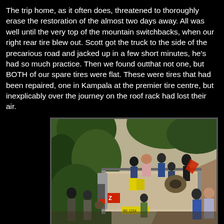The trip home, as it often does, threatened to thoroughly erase the restoration of the almost two days away. All was well until the very top of the mountain switchbacks, when our right rear tire blew out.  Scott got the truck to the side of the precarious road and jacked up in a few short minutes, he's had so much practice. Then we found outthat not one, but BOTH of our spare tires were flat. These were tires that had been repaired, one in Kampala at the premier tire centre, but inexplicably over the journey on the roof rack had lost their air.
[Figure (photo): A crowded truck on a narrow dirt road surrounded by dense green vegetation. Multiple people are climbing on and standing around the truck bed, which is loaded with goods including yellow jerry cans and rope/tires. People are visible on top of the truck as well as standing beside it on the road.]